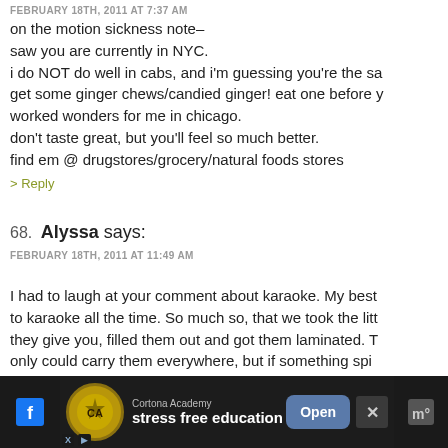FEBRUARY 18TH, 2011 AT 7:37 AM
on the motion sickness note–
saw you are currently in NYC.
i do NOT do well in cabs, and i'm guessing you're the sa
get some ginger chews/candied ginger! eat one before y
worked wonders for me in chicago.
don't taste great, but you'll feel so much better.
find em @ drugstores/grocery/natural foods stores
> Reply
68. Alyssa says:
FEBRUARY 18TH, 2011 AT 11:49 AM
I had to laugh at your comment about karaoke. My best
to karaoke all the time. So much so, that we took the litt
they give you, filled them out and got them laminated. T
only could carry them everywhere, but if something spi
wouldn't be ruined!!
> Reply
[Figure (screenshot): Ad banner for Cortona Academy with logo, tagline 'stress free education', Open button, and X close button on dark background]